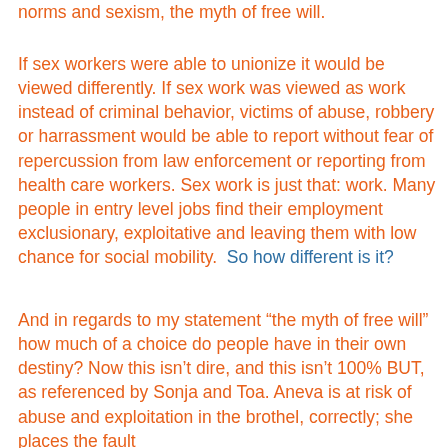norms and sexism, the myth of free will.
If sex workers were able to unionize it would be viewed differently. If sex work was viewed as work instead of criminal behavior, victims of abuse, robbery or harrassment would be able to report without fear of repercussion from law enforcement or reporting from health care workers. Sex work is just that: work. Many people in entry level jobs find their employment exclusionary, exploitative and leaving them with low chance for social mobility.  So how different is it?
And in regards to my statement “the myth of free will” how much of a choice do people have in their own destiny? Now this isn’t dire, and this isn’t 100% BUT, as referenced by Sonja and Toa. Aneva is at risk of abuse and exploitation in the brothel, correctly; she places the fault